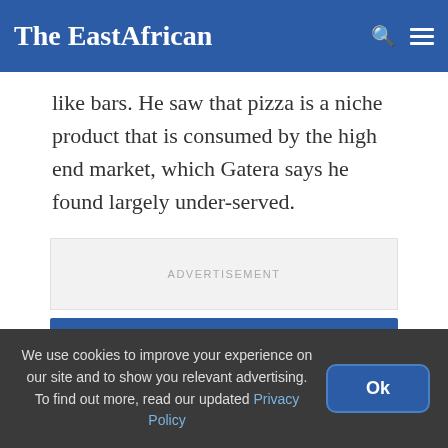The EastAfrican
like bars. He saw that pizza is a niche product that is consumed by the high end market, which Gatera says he found largely under-served.
[Figure (other): Advertisement placeholder box with text ADVERTISEMENT]
In the headlines
We use cookies to improve your experience on our site and to show you relevant advertising. To find out more, read our updated Privacy Policy